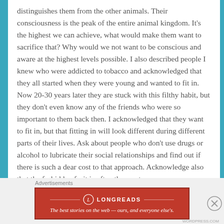distinguishes them from the other animals. Their consciousness is the peak of the entire animal kingdom. It's the highest we can achieve, what would make them want to sacrifice that? Why would we not want to be conscious and aware at the highest levels possible. I also described people I knew who were addicted to tobacco and acknowledged that they all started when they were young and wanted to fit in. Now 20-30 years later they are stuck with this filthy habit, but they don't even know any of the friends who were so important to them back then. I acknowledged that they want to fit in, but that fitting in will look different during different parts of their lives. Ask about people who don't use drugs or alcohol to lubricate their social relationships and find out if there is such a dear cost to that approach. Acknowledge also that the forbidden fruit is often the most
Advertisements
[Figure (logo): Longreads advertisement banner: red background with Longreads logo and tagline 'The best stories on the web — ours, and everyone else's.']